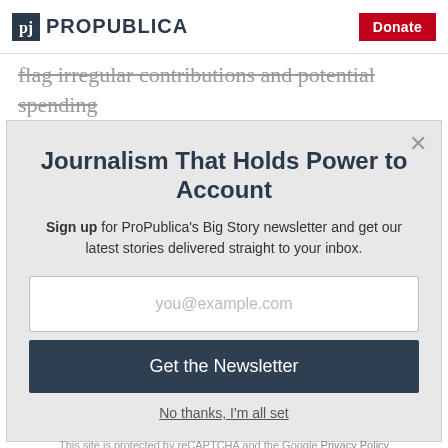ProPublica | Donate
flag irregular contributions and potential spending violations that can prompt audits, civil penalties and,
Journalism That Holds Power to Account
Sign up for ProPublica's Big Story newsletter and get our latest stories delivered straight to your inbox.
you@example.com
Get the Newsletter
No thanks, I'm all set
This site is protected by reCAPTCHA and the Google Privacy Policy and Terms of Service apply.